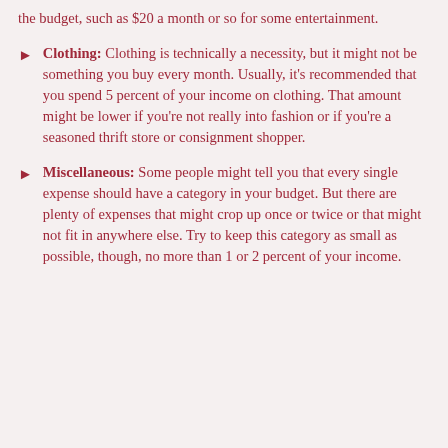the budget, such as $20 a month or so for some entertainment.
Clothing: Clothing is technically a necessity, but it might not be something you buy every month. Usually, it's recommended that you spend 5 percent of your income on clothing. That amount might be lower if you're not really into fashion or if you're a seasoned thrift store or consignment shopper.
Miscellaneous: Some people might tell you that every single expense should have a category in your budget. But there are plenty of expenses that might crop up once or twice or that might not fit in anywhere else. Try to keep this category as small as possible, though, no more than 1 or 2 percent of your income.